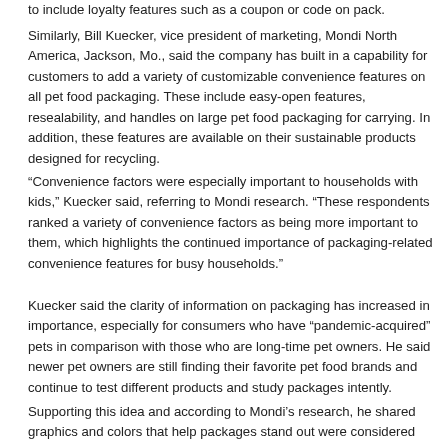to include loyalty features such as a coupon or code on pack.
Similarly, Bill Kuecker, vice president of marketing, Mondi North America, Jackson, Mo., said the company has built in a capability for customers to add a variety of customizable convenience features on all pet food packaging. These include easy-open features, resealability, and handles on large pet food packaging for carrying. In addition, these features are available on their sustainable products designed for recycling.
“Convenience factors were especially important to households with kids,” Kuecker said, referring to Mondi research. “These respondents ranked a variety of convenience factors as being more important to them, which highlights the continued importance of packaging-related convenience features for busy households.”
Kuecker said the clarity of information on packaging has increased in importance, especially for consumers who have “pandemic-acquired” pets in comparison with those who are long-time pet owners. He said newer pet owners are still finding their favorite pet food brands and continue to test different products and study packages intently.
Supporting this idea and according to Mondi’s research, he shared graphics and colors that help packages stand out were considered extremely or very important to 30% of consumers who